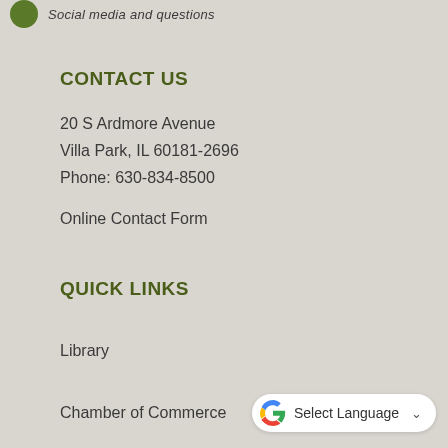[Figure (logo): Green circle icon with partial text cut off at top]
CONTACT US
20 S Ardmore Avenue
Villa Park, IL 60181-2696
Phone: 630-834-8500
Online Contact Form
QUICK LINKS
Library
Chamber of Commerce
Master Bike Plan
[Figure (other): Google Translate widget with G logo and Select Language dropdown]